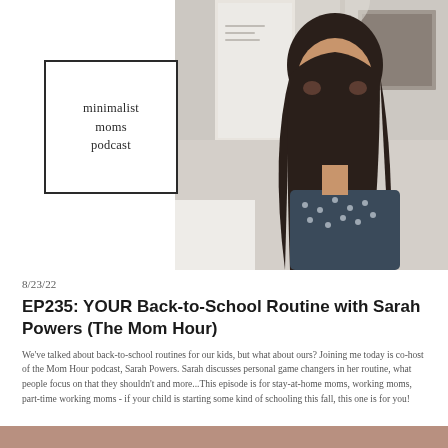[Figure (photo): Smiling woman with dark hair in a polka dot top, standing in a light-colored room with artwork on walls. Top-right portion of the page header image.]
[Figure (logo): Minimalist square logo with text: minimalist moms podcast]
8/23/22
EP235: YOUR Back-to-School Routine with Sarah Powers (The Mom Hour)
We've talked about back-to-school routines for our kids, but what about ours? Joining me today is co-host of the Mom Hour podcast, Sarah Powers. Sarah discusses personal game changers in her routine, what people focus on that they shouldn't and more...This episode is for stay-at-home moms, working moms, part-time working moms - if your child is starting some kind of schooling this fall, this one is for you!